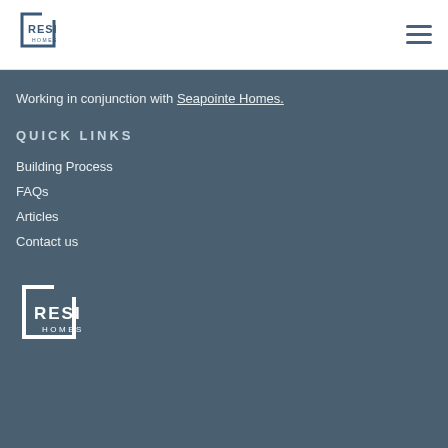[Figure (logo): RESI HOMES logo in blue/dark blue, top navigation bar]
Working in conjunction with Seapointe Homes.
QUICK LINKS
Building Process
FAQs
Articles
Contact us
[Figure (logo): RESI HOMES logo in white, footer area on dark background]